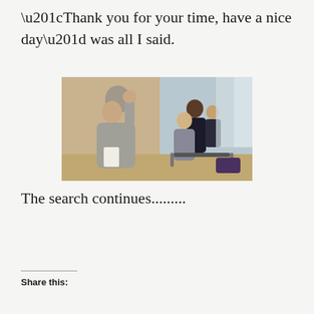“Thank you for your time, have a nice day” was all I said.
[Figure (photo): A man in a gray suit leaning his head against a wall in apparent frustration, holding papers, while several other people in business attire sit waiting in chairs in the background of what appears to be an office waiting area.]
The search continues.........
Share this: